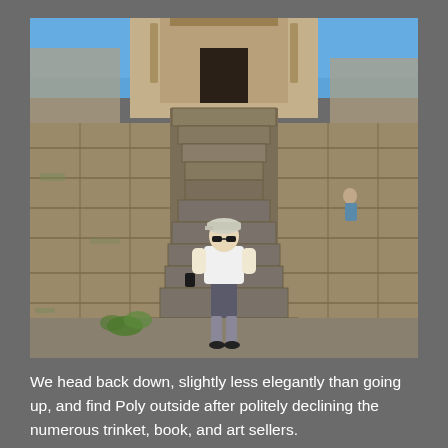[Figure (photo): A person wearing a white t-shirt, shorts, cap, and sunglasses standing on the stone steps in front of an ancient Khmer temple (possibly Angkor Wat area) with large carved sandstone blocks on either side. Blue sky visible at the top.]
We head back down, slightly less elegantly than going up, and find Poly outside after politely declining the numerous trinket, book, and art sellers.